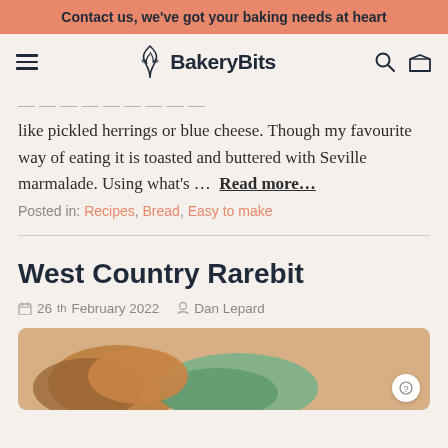Contact us, we've got your baking needs at heart
BakeryBits
like pickled herrings or blue cheese. Though my favourite way of eating it is toasted and buttered with Seville marmalade. Using what's ...  Read more...
Posted in: Recipes, Bread, Easy to make
West Country Rarebit
26th February 2022   Dan Lepard
[Figure (photo): Photo of West Country Rarebit baked goods on a green plate]